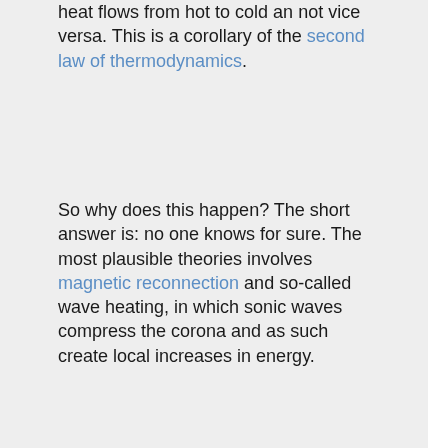heat flows from hot to cold an not vice versa. This is a corollary of the second law of thermodynamics.
So why does this happen? The short answer is: no one knows for sure. The most plausible theories involves magnetic reconnection and so-called wave heating, in which sonic waves compress the corona and as such create local increases in energy.
Conclusions
The corona is a very tenuous and very hot layer around the Sun. It is normally not visible, because the light from the rest of the Sun is so much brighter. The reason why it is hot is...